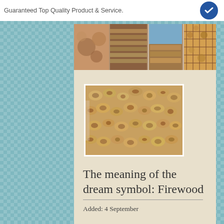Guaranteed Top Quality Product & Service.
[Figure (photo): Collage of multiple firewood photos at the top of the content card]
[Figure (photo): Single photo of a large pile of split firewood logs]
The meaning of the dream symbol: Firewood
Added: 4 September